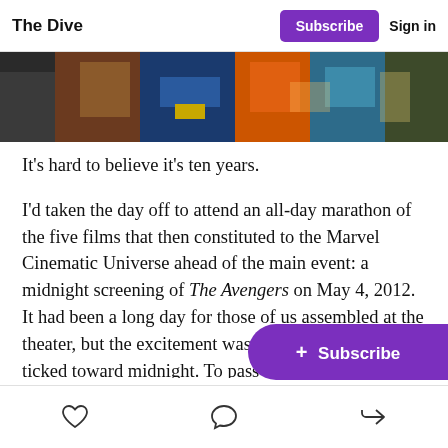The Dive | Subscribe | Sign in
[Figure (photo): A horizontal strip showing Marvel superhero characters from waist down, including costumes of Captain America, Black Widow, and others in brown, blue, orange and green tones.]
It’s hard to believe it’s ten years.
I’d taken the day off to attend an all-day marathon of the five films that then constituted to the Marvel Cinematic Universe ahead of the main event: a midnight screening of The Avengers on May 4, 2012. It had been a long day for those of us assembled at the theater, but the excitement was palpable as the clock ticked toward midnight. To pass nearly of a nice early summer day indoors with fellow fans
Man, Captain America, Black Wido
heart icon | comment icon | share icon